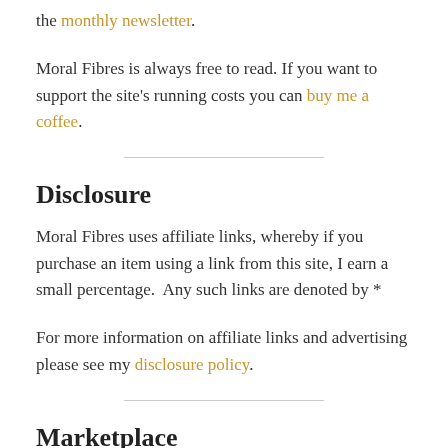the monthly newsletter.
Moral Fibres is always free to read. If you want to support the site's running costs you can buy me a coffee.
Disclosure
Moral Fibres uses affiliate links, whereby if you purchase an item using a link from this site, I earn a small percentage.  Any such links are denoted by *
For more information on affiliate links and advertising please see my disclosure policy.
Marketplace
[Figure (other): Teal/green banner image with white italic text reading 'honest']